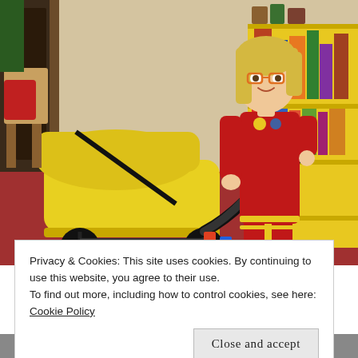[Figure (photo): A young girl with blonde hair and orange-framed glasses, wearing a red outfit, standing and holding the handle of a large yellow baby pram/stroller inside a home. There is a yellow bookshelf with books and toys in the background, and colorful building blocks on a red carpet floor.]
Privacy & Cookies: This site uses cookies. By continuing to use this website, you agree to their use.
To find out more, including how to control cookies, see here: Cookie Policy
Close and accept